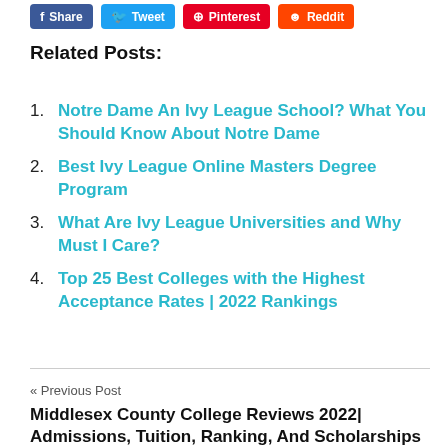[Figure (other): Social sharing buttons: Facebook Share, Twitter Tweet, Pinterest, Reddit]
Related Posts:
Notre Dame An Ivy League School? What You Should Know About Notre Dame
Best Ivy League Online Masters Degree Program
What Are Ivy League Universities and Why Must I Care?
Top 25 Best Colleges with the Highest Acceptance Rates | 2022 Rankings
« Previous Post
Middlesex County College Reviews 2022| Admissions, Tuition, Ranking, And Scholarships